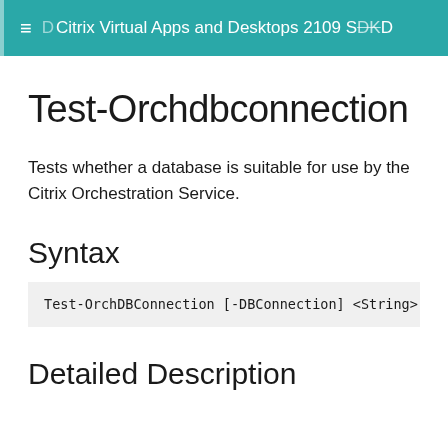Citrix Virtual Apps and Desktops 2109 SDK D
Test-Orchdbconnection
Tests whether a database is suitable for use by the Citrix Orchestration Service.
Syntax
Test-OrchDBConnection [-DBConnection] <String> [-Logg
Detailed Description